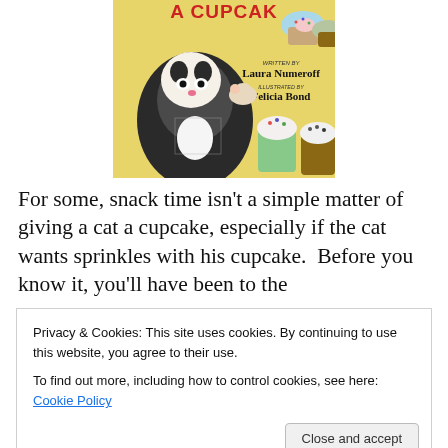[Figure (illustration): Book cover illustration showing a black and white cat reaching upward toward cupcakes on a yellow background, with text 'A CUPCAKE', WRITTEN BY Laura Numeroff, ILLUSTRATED BY Felicia Bond]
For some, snack time isn't a simple matter of giving a cat a cupcake, especially if the cat wants sprinkles with his cupcake. Before you know it, you'll have been to the
Privacy & Cookies: This site uses cookies. By continuing to use this website, you agree to their use.
To find out more, including how to control cookies, see here: Cookie Policy
Little Lit Lover says: I like when the cat rides on a whale